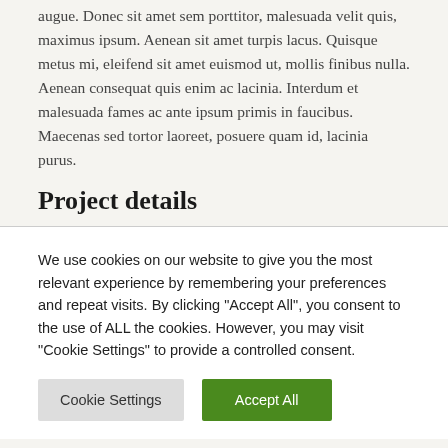augue. Donec sit amet sem porttitor, malesuada velit quis, maximus ipsum. Aenean sit amet turpis lacus. Quisque metus mi, eleifend sit amet euismod ut, mollis finibus nulla. Aenean consequat quis enim ac lacinia. Interdum et malesuada fames ac ante ipsum primis in faucibus. Maecenas sed tortor laoreet, posuere quam id, lacinia purus.
Project details
We use cookies on our website to give you the most relevant experience by remembering your preferences and repeat visits. By clicking "Accept All", you consent to the use of ALL the cookies. However, you may visit "Cookie Settings" to provide a controlled consent.